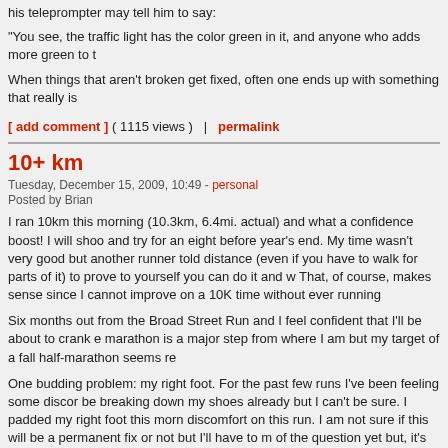his teleprompter may tell him to say:
"You see, the traffic light has the color green in it, and anyone who adds more green to t
When things that aren't broken get fixed, often one ends up with something that really is
[ add comment ] ( 1115 views )   |   permalink
10+ km
Tuesday, December 15, 2009, 10:49 - personal
Posted by Brian
I ran 10km this morning (10.3km, 6.4mi. actual) and what a confidence boost! I will shoo and try for an eight before year's end. My time wasn't very good but another runner told distance (even if you have to walk for parts of it) to prove to yourself you can do it and w That, of course, makes sense since I cannot improve on a 10K time without ever running
Six months out from the Broad Street Run and I feel confident that I'll be about to crank e marathon is a major step from where I am but my target of a fall half-marathon seems re
One budding problem: my right foot. For the past few runs I've been feeling some discor be breaking down my shoes already but I can't be sure. I padded my right foot this morn discomfort on this run. I am not sure if this will be a permanent fix or not but I'll have to m of the question yet but, it's just minor discomfort and not something I would call pain - m charts with the grimacing cartoon faces.
I'll plan on a few more runs this week. Maybe I can get that weekly total up from a curren
[ add comment ] ( 1095 views )   |   permalink
My Limit?
Tuesday, December 8, 2009, 11:55 - personal
Posted by Brian
I'm still running, of course, but I feel like I have hit my limit in regards to speed. I can finis little effort could get that down to under 28; 28:16 being my best so far. But with flat feet